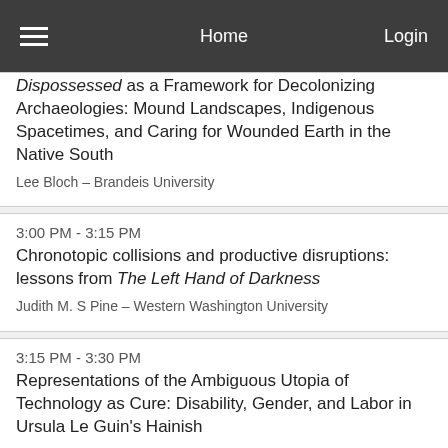Home  Login
Dispossessed as a Framework for Decolonizing Archaeologies: Mound Landscapes, Indigenous Spacetimes, and Caring for Wounded Earth in the Native South
Lee Bloch – Brandeis University
3:00 PM - 3:15 PM
Chronotopic collisions and productive disruptions: lessons from The Left Hand of Darkness
Judith M. S Pine – Western Washington University
3:15 PM - 3:30 PM
Representations of the Ambiguous Utopia of Technology as Cure: Disability, Gender, and Labor in Ursula Le Guin's Hainish